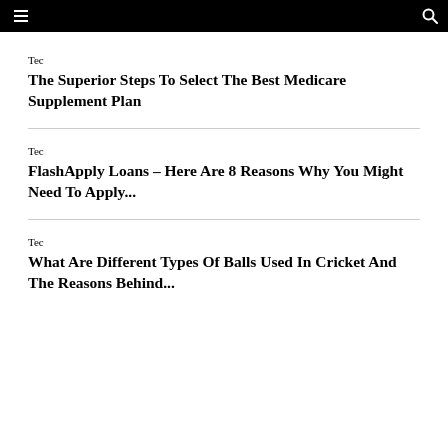≡  🔍
Tec
The Superior Steps To Select The Best Medicare Supplement Plan
Tec
FlashApply Loans – Here Are 8 Reasons Why You Might Need To Apply...
Tec
What Are Different Types Of Balls Used In Cricket And The Reasons Behind...